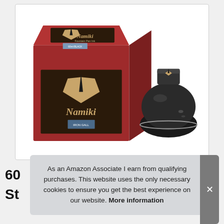[Figure (photo): Product photo of Namiki Fountain Pen Ink showing the red branded box packaging and a dark glass ink bottle with a flat-topped cap, on a white background.]
60
St
As an Amazon Associate I earn from qualifying purchases. This website uses the only necessary cookies to ensure you get the best experience on our website. More information